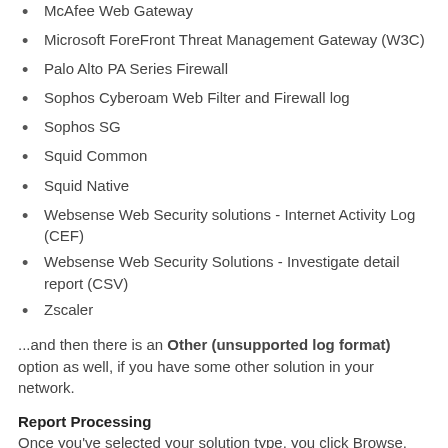McAfee Web Gateway
Microsoft ForeFront Threat Management Gateway (W3C)
Palo Alto PA Series Firewall
Sophos Cyberoam Web Filter and Firewall log
Sophos SG
Squid Common
Squid Native
Websense Web Security solutions - Internet Activity Log (CEF)
Websense Web Security Solutions - Investigate detail report (CSV)
Zscaler
...and then there is an Other (unsupported log format) option as well, if you have some other solution in your network.
Report Processing
Once you've selected your solution type, you click Browse, and select your file, and submit it for processing. Y…